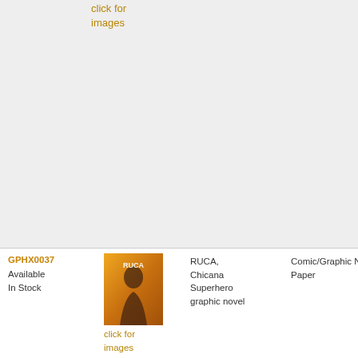click for
images
GPHX0037
Available In Stock
[Figure (illustration): Book cover for RUCA showing a woman against a warm orange/gold background with text RUCA]
click for
images
RUCA, Chicana Superhero graphic novel
Comic/Graphic Novels-Paper
Kayc
Phoe